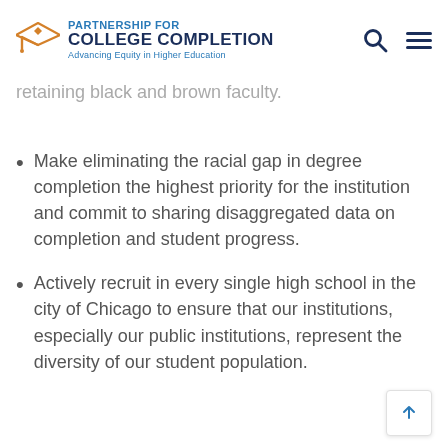PARTNERSHIP FOR COLLEGE COMPLETION — Advancing Equity in Higher Education
retaining black and brown faculty.
Make eliminating the racial gap in degree completion the highest priority for the institution and commit to sharing disaggregated data on completion and student progress.
Actively recruit in every single high school in the city of Chicago to ensure that our institutions, especially our public institutions, represent the diversity of our student population.